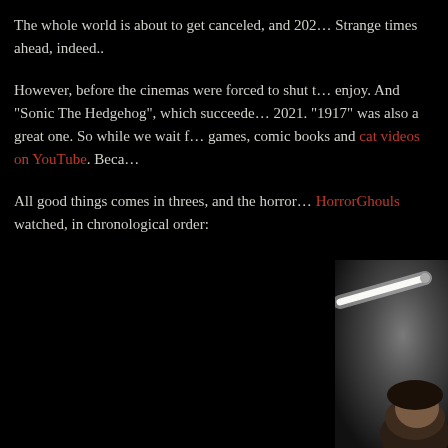The whole world is about to get canceled, and 202… Strange times ahead, indeed..
However, before the cinemas were forced to shut t… enjoy. And "Sonic The Hedgehog", which succeede… 2021. "1917" was also a great one. So while we wait f… games, comic books and cat videos on YouTube. Beca…
All good things comes in threes, and the horror… HorrorGhouls watched, in chronological order:
[Figure (photo): Dark atmospheric photo showing a person from behind/side with a fluorescent tube light extending diagonally in the upper portion against a smoky grey background]